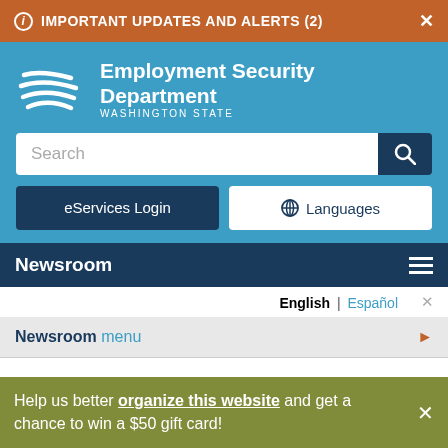IMPORTANT UPDATES AND ALERTS (2)
[Figure (logo): Employment Security Department Washington State logo with horizontal wavy lines]
Employment Security Department WASHINGTON STATE
Search
eServices Login
Languages
Newsroom
English | Español
Newsroom menu
Help us better organize this website and get a chance to win a $50 gift card!